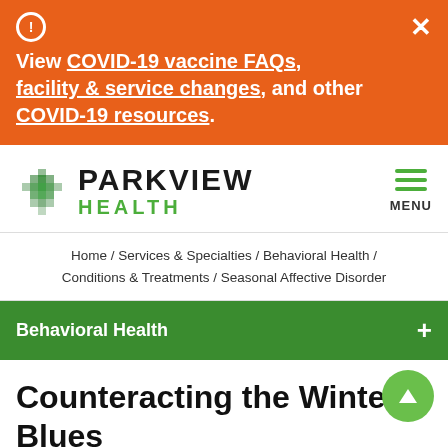View COVID-19 vaccine FAQs, facility & service changes, and other COVID-19 resources.
[Figure (logo): Parkview Health logo with green diamond pattern icon and text PARKVIEW HEALTH]
Home / Services & Specialties / Behavioral Health / Conditions & Treatments / Seasonal Affective Disorder
Behavioral Health
Counteracting the Winter Blues